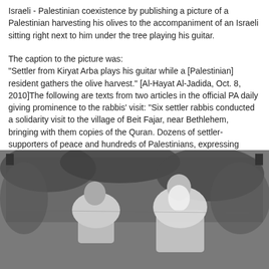Israeli - Palestinian coexistence by publishing a picture of a Palestinian harvesting his olives to the accompaniment of an Israeli sitting right next to him under the tree playing his guitar.
The caption to the picture was:
"Settler from Kiryat Arba plays his guitar while a [Palestinian] resident gathers the olive harvest." [Al-Hayat Al-Jadida, Oct. 8, 2010]The following are texts from two articles in the official PA daily giving prominence to the rabbis' visit:
"Six settler rabbis conducted a solidarity visit to the village of Beit Fajar, near Bethlehem, bringing with them copies of the Quran. Dozens of settler-supporters of peace and hundreds of Palestinians, expressing solidarity, gathered to receive them at the entrance of the village. After handing over a box containing 20 copies of the Quran, to replace those which had been burned in the mosque, Rabbi Menahem Fruman said: 'This land is the land of peace, and Allah will take revenge on those who set fire to the mosque.'" [Al-Hayat Al-Jadida, Oct. 6, 2010]
[Figure (photo): Grayscale photograph showing two people, one appearing to be a Palestinian harvesting olives and another person (an Israeli settler) with a white beard, sitting under a tree. The image is in black and white.]